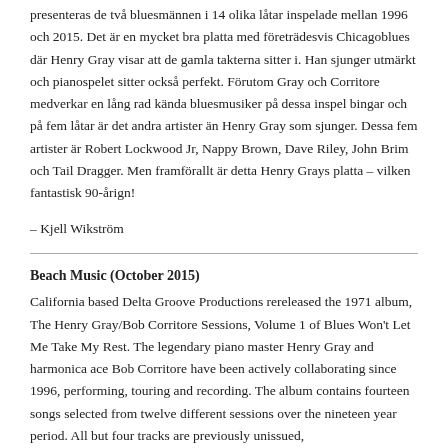presenteras de två bluesmännen i 14 olika låtar inspelade mellan 1996 och 2015. Det är en mycket bra platta med företrädesvis Chicagoblues där Henry Gray visar att de gamla takterna sitter i. Han sjunger utmärkt och pianospelet sitter också perfekt. Förutom Gray och Corritore medverkar en lång rad kända bluesmusiker på dessa inspel bingar och på fem låtar är det andra artister än Henry Gray som sjunger. Dessa fem artister är Robert Lockwood Jr, Nappy Brown, Dave Riley, John Brim och Tail Dragger. Men framförallt är detta Henry Grays platta – vilken fantastisk 90-årig!
– Kjell Wikström
Beach Music (October 2015)
California based Delta Groove Productions rereleased the 1971 album, The Henry Gray/Bob Corritore Sessions, Volume 1 of Blues Won't Let Me Take My Rest. The legendary piano master Henry Gray and harmonica ace Bob Corritore have been actively collaborating since 1996, performing, touring and recording. The album contains fourteen songs selected from twelve different sessions over the nineteen year period. All but four tracks are previously unissued, and